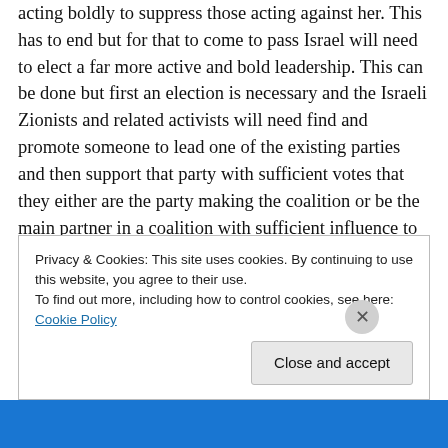acting boldly to suppress those acting against her. This has to end but for that to come to pass Israel will need to elect a far more active and bold leadership. This can be done but first an election is necessary and the Israeli Zionists and related activists will need find and promote someone to lead one of the existing parties and then support that party with sufficient votes that they either are the party making the coalition or be the main partner in a coalition with sufficient influence to force definitive action. The United States election set in place an opportunity of a lifetime. The election of Donald Trump as President and
Privacy & Cookies: This site uses cookies. By continuing to use this website, you agree to their use.
To find out more, including how to control cookies, see here: Cookie Policy